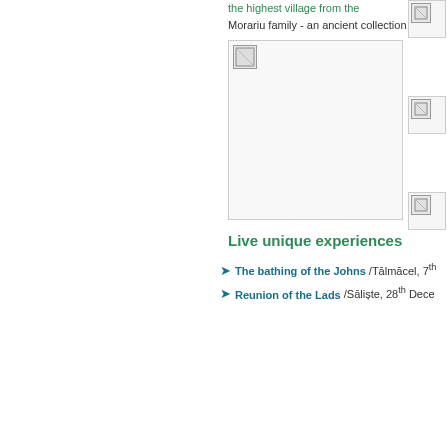the highest village from the Morariu family - an ancient collection
[Figure (photo): Main image placeholder with broken image icon, bordered box]
[Figure (photo): Small thumbnail image placeholder top right]
[Figure (photo): Small thumbnail image placeholder middle right]
[Figure (photo): Small thumbnail image placeholder lower right]
Live unique experiences
The bathing of the Johns /Tālmācel, 7th
Reunion of the Lads /Sāliste, 28th Dece